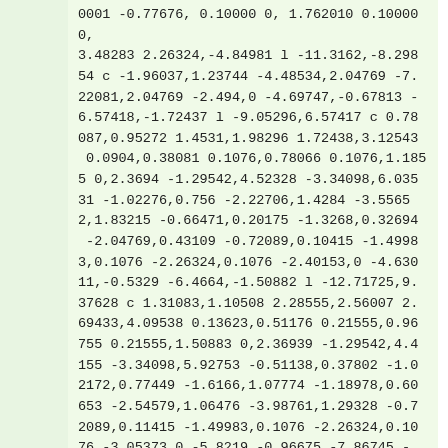0001 -0.77676, 0.10000 0, 1.762010 0.100000, 3.48283 2.26324,-4.84981 l -11.3162,-8.29854 c -1.96037,1.23744 -4.48534,2.04769 -7.22081,2.04769 -2.494,0 -4.69747,-0.67813 -6.57418,-1.72437 l -9.05296,6.57417 c 0.78087,0.95272 1.4531,1.98296 1.72438,3.12543 0.0904,0.38081 0.1076,0.78066 0.1076,1.1855 0,2.3694 -1.29542,4.52328 -3.34098,6.03531 -1.02276,0.756 -2.22706,1.4284 -3.55652,1.83215 -0.66471,0.20175 -1.3268,0.32694 -2.04769,0.43109 -0.72089,0.10415 -1.49983,0.1076 -2.26324,0.1076 -2.40153,0 -4.63011,-0.5329 -6.4664,-1.50882 l -12.71725,9.37628 c 1.31083,1.10508 2.28555,2.56007 2.69433,4.09538 0.13623,0.51176 0.21555,0.96755 0.21555,1.50883 0,2.36939 -1.29542,4.4155 -3.34098,5.92753 -0.51138,0.37802 -1.02172,0.77449 -1.6166,1.07774 -1.18978,0.60653 -2.54579,1.06476 -3.98761,1.29328 -0.72089,0.11415 -1.49983,0.1076 -2.26324,0.1076 -3.05373,0 -5.8219,-0.96675 -7.86745,-2.47879 -1.02276,-0.75603 -1.89923,-1.58987 -2.47879,-2.58656 -0.28969,-0.49834 -0.49324,-1.06794 -0.64664,-1.6166 -0.15347,-0.54866 -0.21555,-1.13202 -0.21555,-1.72437 0,-2.36939 1.29542,-4.52331 3.34098,-6.03531 2.04555,-1.512 4.81372,-2.47879 7.867